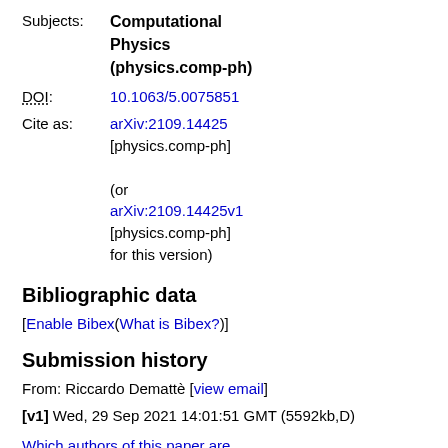Subjects: Computational Physics (physics.comp-ph)
DOI: 10.1063/5.0075851
Cite as: arXiv:2109.14425 [physics.comp-ph] (or arXiv:2109.14425v1 [physics.comp-ph] for this version)
Bibliographic data
[Enable Bibex(What is Bibex?)]
Submission history
From: Riccardo Demattè [view email]
[v1] Wed, 29 Sep 2021 14:01:51 GMT (5592kb,D)
Which authors of this paper are